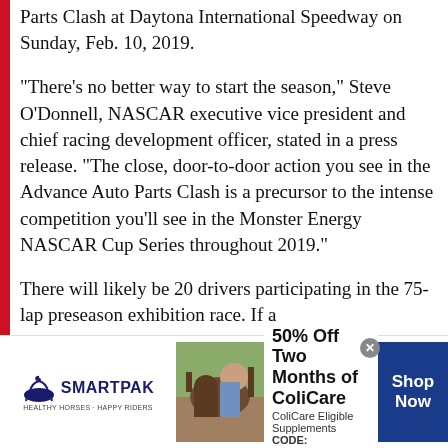Parts Clash at Daytona International Speedway on Sunday, Feb. 10, 2019.
“There’s no better way to start the season,” Steve O’Donnell, NASCAR executive vice president and chief racing development officer, stated in a press release. “The close, door-to-door action you see in the Advance Auto Parts Clash is a precursor to the intense competition you’ll see in the Monster Energy NASCAR Cup Series throughout 2019.”
There will likely be 20 drivers participating in the 75-lap preseason exhibition race. If a
[Figure (advertisement): SmartPak advertisement for ColiCare supplement. Shows SmartPak logo on left, product image with horse and person in middle, text '50% Off Two Months of ColiCare, ColiCare Eligible Supplements, CODE: COLICARE10', and blue 'Shop Now' button on right.]